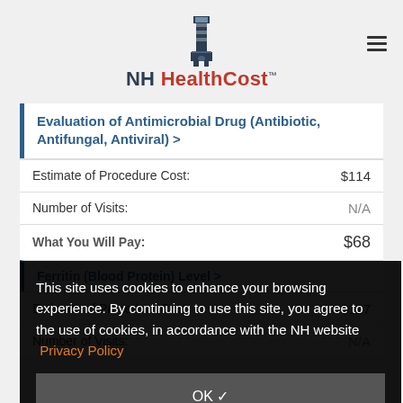NH HealthCost
Evaluation of Antimicrobial Drug (Antibiotic, Antifungal, Antiviral) >
|  |  |
| --- | --- |
| Estimate of Procedure Cost: | $114 |
| Number of Visits: | N/A |
| What You Will Pay: | $68 |
This site uses cookies to enhance your browsing experience. By continuing to use this site, you agree to the use of cookies, in accordance with the NH website Privacy Policy
OK ✓
Ferritin (Blood Protein) Level >
|  |  |
| --- | --- |
| Estimate of Procedure Cost: | $127 |
| Number of Visits: | N/A |